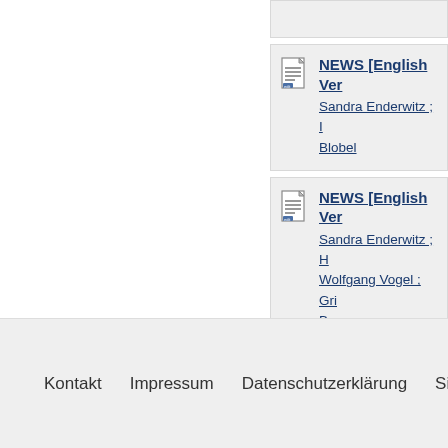NEWS [English Ver... Sandra Enderwitz ; ... Blobel
NEWS [English Ver... Sandra Enderwitz ; ... Wolfgang Vogel ; Gri... Beese
Treffer 1 bis 5
Kontakt   Impressum   Datenschutzerklärung   Sitelinks